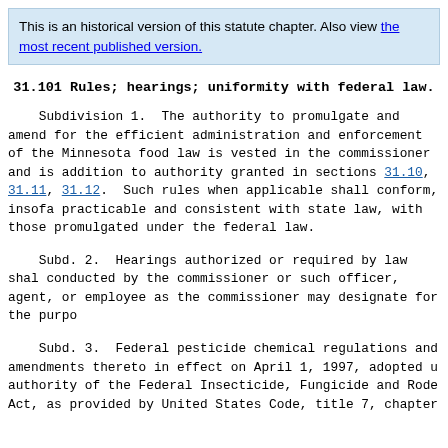This is an historical version of this statute chapter. Also view the most recent published version.
31.101 Rules; hearings; uniformity with federal law.
Subdivision 1.  The authority to promulgate and amend for the efficient administration and enforcement of the Minnesota food law is vested in the commissioner and is addition to authority granted in sections 31.10, 31.11, 31.12.  Such rules when applicable shall conform, insofa practicable and consistent with state law, with those promulgated under the federal law.
Subd. 2.  Hearings authorized or required by law shal conducted by the commissioner or such officer, agent, or employee as the commissioner may designate for the purpo
Subd. 3.  Federal pesticide chemical regulations and amendments thereto in effect on April 1, 1997, adopted u authority of the Federal Insecticide, Fungicide and Rode Act, as provided by United States Code, title 7, chapter